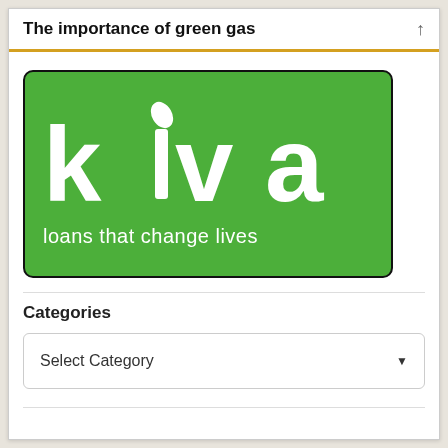The importance of green gas
[Figure (logo): Kiva logo — green background with white 'kiva' text and leaf design, tagline 'loans that change lives']
Categories
Select Category